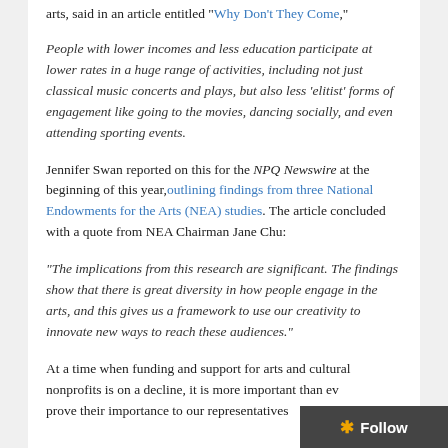arts, said in an article entitled “Why Don’t They Come,”
People with lower incomes and less education participate at lower rates in a huge range of activities, including not just classical music concerts and plays, but also less ‘elitist’ forms of engagement like going to the movies, dancing socially, and even attending sporting events.
Jennifer Swan reported on this for the NPQ Newswire at the beginning of this year, outlining findings from three National Endowments for the Arts (NEA) studies. The article concluded with a quote from NEA Chairman Jane Chu:
“The implications from this research are significant. The findings show that there is great diversity in how people engage in the arts, and this gives us a framework to use our creativity to innovate new ways to reach these audiences.”
At a time when funding and support for arts and cultural nonprofits is on a decline, it is more important than ever to prove their importance to our representatives